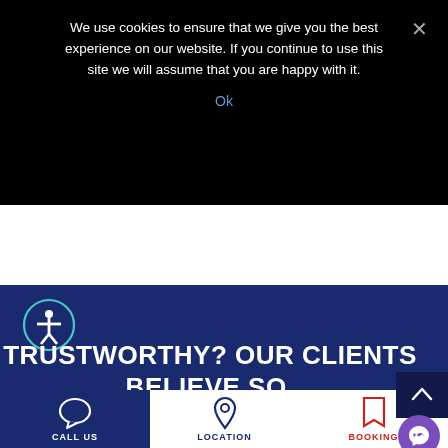We use cookies to ensure that we give you the best experience on our website. If you continue to use this site we will assume that you are happy with it.
Ok
[Figure (illustration): Accessibility icon - person in circle outline]
TRUSTWORTHY? OUR CLIENTS BELIEVE SO.
CALL US
LOCATION
BOOKING